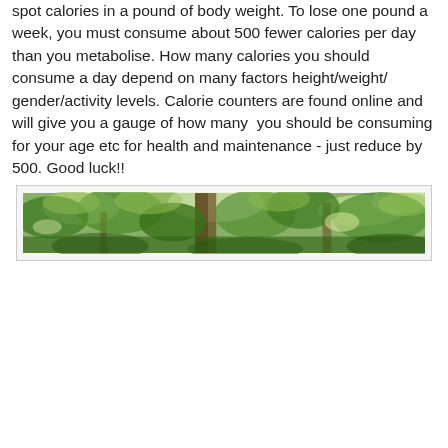spot calories in a pound of body weight. To lose one pound a week, you must consume about 500 fewer calories per day than you metabolise. How many calories you should consume a day depend on many factors height/weight/ gender/activity levels. Calorie counters are found online and will give you a gauge of how many  you should be consuming for your age etc for health and maintenance - just reduce by 500. Good luck!!
[Figure (photo): A wide panoramic photograph of green tree canopy viewed from below, showing sunlight filtering through dense foliage.]